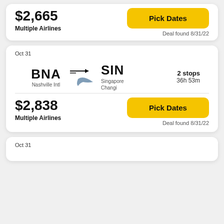$2,665
Multiple Airlines
Pick Dates
Deal found 8/31/22
Oct 31
BNA Nashville Intl → SIN Singapore Changi
2 stops 36h 53m
$2,838
Multiple Airlines
Pick Dates
Deal found 8/31/22
Oct 31